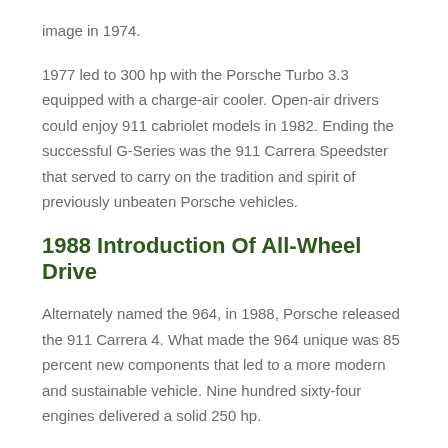image in 1974.
1977 led to 300 hp with the Porsche Turbo 3.3 equipped with a charge-air cooler. Open-air drivers could enjoy 911 cabriolet models in 1982. Ending the successful G-Series was the 911 Carrera Speedster that served to carry on the tradition and spirit of previously unbeaten Porsche vehicles.
1988 Introduction Of All-Wheel Drive
Alternately named the 964, in 1988, Porsche released the 911 Carrera 4. What made the 964 unique was 85 percent new components that led to a more modern and sustainable vehicle. Nine hundred sixty-four engines delivered a solid 250 hp.
While the 964 only differed slightly on an external level from